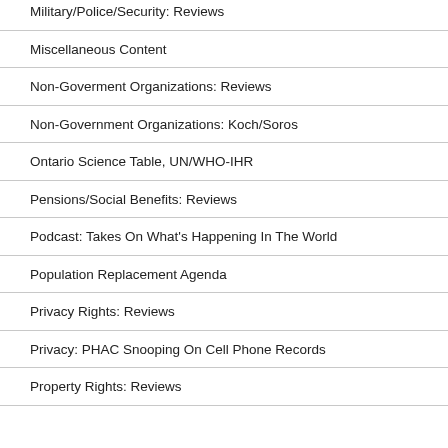Military/Police/Security: Reviews
Miscellaneous Content
Non-Goverment Organizations: Reviews
Non-Government Organizations: Koch/Soros
Ontario Science Table, UN/WHO-IHR
Pensions/Social Benefits: Reviews
Podcast: Takes On What's Happening In The World
Population Replacement Agenda
Privacy Rights: Reviews
Privacy: PHAC Snooping On Cell Phone Records
Property Rights: Reviews